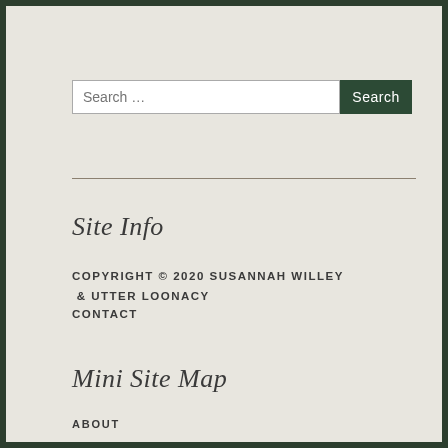Search …
Site Info
COPYRIGHT © 2020 SUSANNAH WILLEY & UTTER LOONACY
CONTACT
Mini Site Map
ABOUT
NATURE PHOTOGRAPHY
WRITING PROJECTS